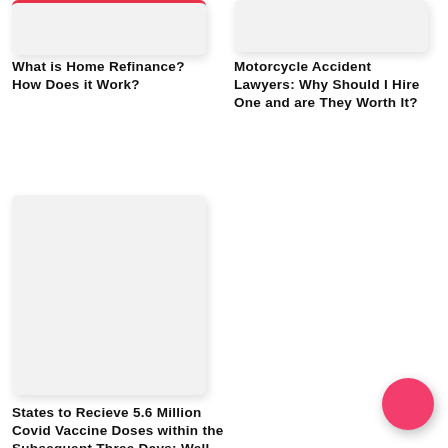[Figure (photo): Top-left card image placeholder with red top border]
What is Home Refinance? How Does it Work?
[Figure (photo): Top-right card image placeholder]
Motorcycle Accident Lawyers: Why Should I Hire One and are They Worth It?
[Figure (photo): Bottom-left card large image placeholder]
States to Recieve 5.6 Million Covid Vaccine Doses within the Subsequent Three Days: Well being...